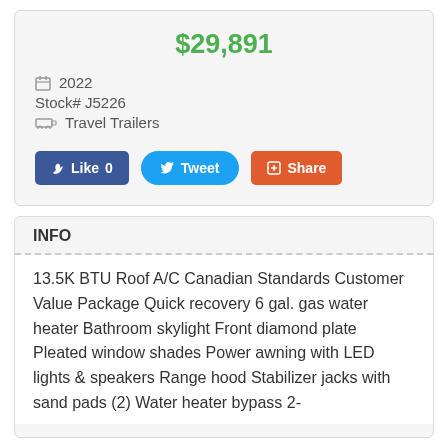$29,891
2022
Stock# J5226
Travel Trailers
Like 0  Tweet  Share
INFO
13.5K BTU Roof A/C Canadian Standards Customer Value Package Quick recovery 6 gal. gas water heater Bathroom skylight Front diamond plate Pleated window shades Power awning with LED lights & speakers Range hood Stabilizer jacks with sand pads (2) Water heater bypass 2-